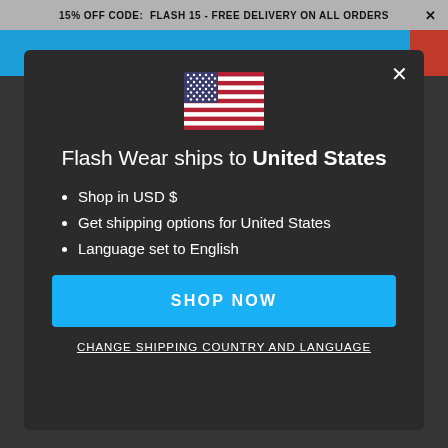15% OFF CODE: FLASH 15 - FREE DELIVERY ON ALL ORDERS ×
[Figure (illustration): US flag emoji / icon centered at top of modal]
Flash Wear ships to United States
Shop in USD $
Get shipping options for United States
Language set to English
SHOP NOW
CHANGE SHIPPING COUNTRY AND LANGUAGE